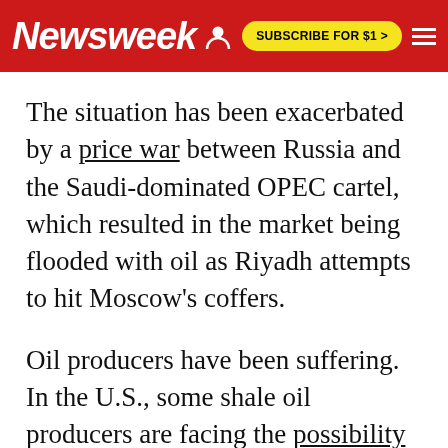Newsweek | SUBSCRIBE FOR $1 >
The situation has been exacerbated by a price war between Russia and the Saudi-dominated OPEC cartel, which resulted in the market being flooded with oil as Riyadh attempts to hit Moscow's coffers.
Oil producers have been suffering. In the U.S., some shale oil producers are facing the possibility of bankruptcy if prices stay low. Firms have been lobbying lawmakers and President Donald Trump to intervene, but the